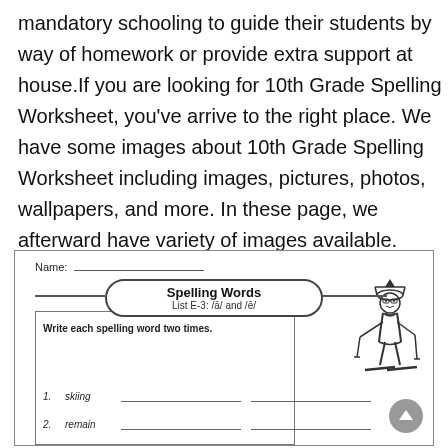mandatory schooling to guide their students by way of homework or provide extra support at house. If you are looking for 10th Grade Spelling Worksheet, you've arrive to the right place. We have some images about 10th Grade Spelling Worksheet including images, pictures, photos, wallpapers, and more. In these page, we afterward have variety of images available. Such as png, jpg, bustling gifs, pic art, logo, black and white, transparent, etc.
[Figure (illustration): A spelling worksheet with a title bubble 'Spelling Words List E-3: /ā/ and /ē/', a name field, instruction to write each spelling word two times, and two words listed: 1. skiing, 2. remain, each with two blank lines. A cartoon skier figure is shown in the top right corner of the worksheet.]